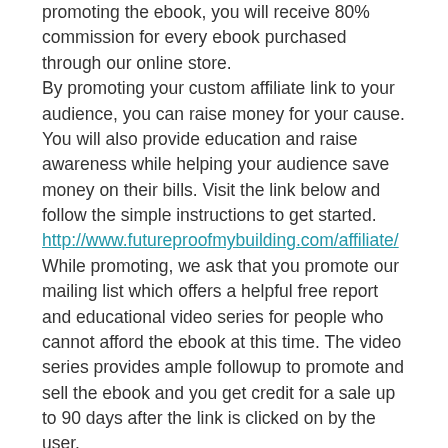promoting the ebook, you will receive 80% commission for every ebook purchased through our online store.
By promoting your custom affiliate link to your audience, you can raise money for your cause. You will also provide education and raise awareness while helping your audience save money on their bills. Visit the link below and follow the simple instructions to get started.
http://www.futureproofmybuilding.com/affiliate/
While promoting, we ask that you promote our mailing list which offers a helpful free report and educational video series for people who cannot afford the ebook at this time. The video series provides ample followup to promote and sell the ebook and you get credit for a sale up to 90 days after the link is clicked on by the user.
The followup educational materials will help engage these users regarding their homes. The content also